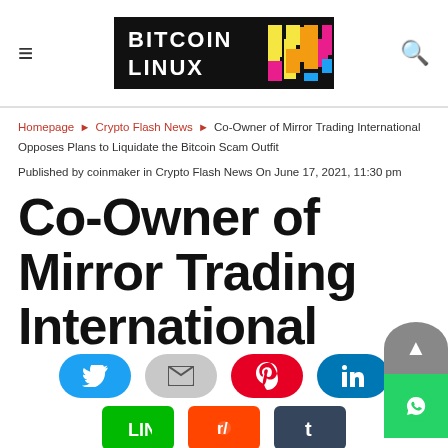Bitcoin Linux
Homepage ▶ Crypto Flash News ▶ Co-Owner of Mirror Trading International Opposes Plans to Liquidate the Bitcoin Scam Outfit
Published by coinmaker in Crypto Flash News On June 17, 2021, 11:30 pm
Co-Owner of Mirror Trading International